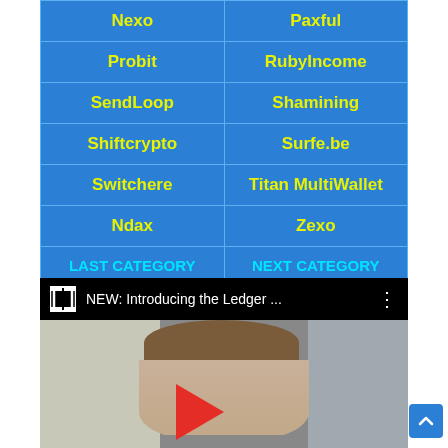| Col1 | Col2 |
| --- | --- |
| Nexo | Paxful |
| Probit | RubyIncome |
| SendLoop | Shamining |
| Shiftcrypto | Surfe.be |
| Switchere | Titan MultiWallet |
| Ndax | Zexo |
| LAST CATEGORY REVIEW | NEXT CATEGORY REVIEW |
| LAST REVIEW | NEXT REVIEW |
[Figure (screenshot): YouTube video thumbnail showing 'NEW: Introducing the Ledger ...' with a person visible and a red play button]